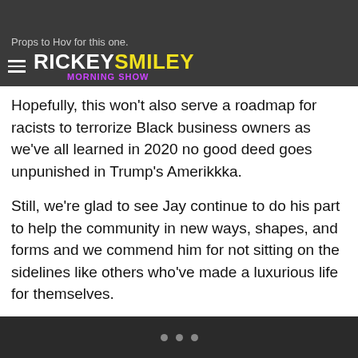Props to Hov for this one. RICKEY SMILEY MORNING SHOW
Hopefully, this won't also serve a roadmap for racists to terrorize Black business owners as we've all learned in 2020 no good deed goes unpunished in Trump's Amerikkka.
Still, we're glad to see Jay continue to do his part to help the community in new ways, shapes, and forms and we commend him for not sitting on the sidelines like others who've made a luxurious life for themselves.
Give it up for Shawn Carter, y'all.
SEE ALSO:
Starz Announces ‘Power Book II: Ghost’ Will Premiere In